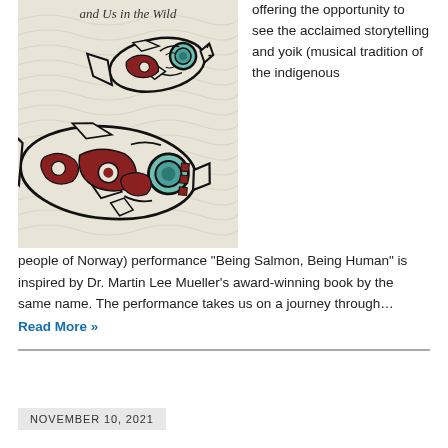[Figure (illustration): Book cover illustration showing two stylized Pacific Northwest indigenous art salmon in black, red/dark-red, and teal, with swirling background patterns on a cream/light background. Text at top reads 'and Us in the Wild'.]
offering the opportunity to see the acclaimed storytelling and yoik (musical tradition of the indigenous people of Norway) performance “Being Salmon, Being Human” is inspired by Dr. Martin Lee Mueller’s award-winning book by the same name. The performance takes us on a journey through…
Read More »
NOVEMBER 10, 2021